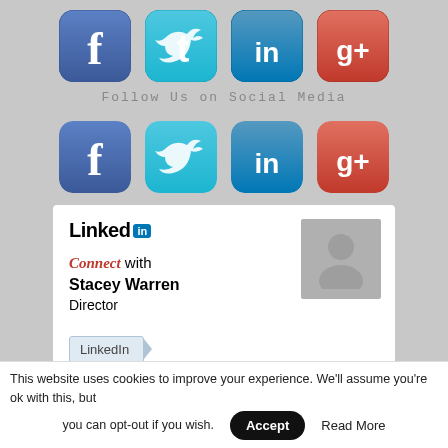[Figure (illustration): Row 1 of social media icons: Facebook (blue), Twitter (teal), LinkedIn (blue), Google+ (red/orange)]
Follow Us on Social Media
[Figure (illustration): Row 2 of social media icons: Facebook (blue), Twitter (teal), LinkedIn (blue), Google+ (red/orange)]
[Figure (screenshot): LinkedIn card: Connect with Stacey Warren, Director. Has LinkedIn button and placeholder profile photo.]
[Figure (screenshot): Partial LinkedIn card at bottom of page (logo only visible)]
This website uses cookies to improve your experience. We'll assume you're ok with this, but you can opt-out if you wish.